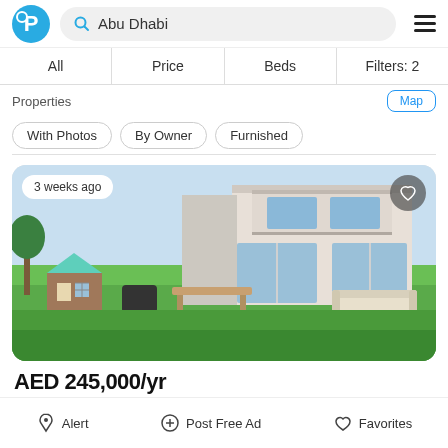[Figure (screenshot): Real estate app header with logo, search bar showing 'Abu Dhabi', and hamburger menu]
All | Price | Beds | Filters: 2
Properties
With Photos
By Owner
Furnished
[Figure (photo): Villa property photo showing modern two-story house with large green lawn, outdoor dining area, small playhouse, and lounge furniture. Badge shows '3 weeks ago'. Heart/favorite button in top right.]
AED 245,000/yr
Alert   Post Free Ad   Favorites